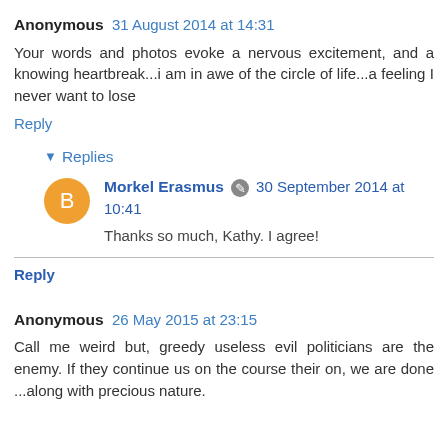Anonymous 31 August 2014 at 14:31
Your words and photos evoke a nervous excitement, and a knowing heartbreak...i am in awe of the circle of life...a feeling I never want to lose
Reply
▾ Replies
Morkel Erasmus 30 September 2014 at 10:41
Thanks so much, Kathy. I agree!
Reply
Anonymous 26 May 2015 at 23:15
Call me weird but, greedy useless evil politicians are the enemy. If they continue us on the course their on, we are done ...along with precious nature.